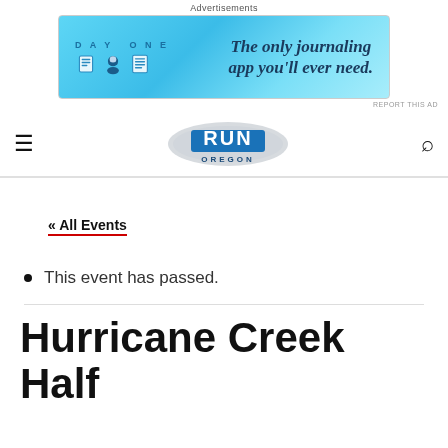Advertisements
[Figure (infographic): DAY ONE app advertisement banner - blue background with icons and text: 'The only journaling app you'll ever need.']
REPORT THIS AD
[Figure (logo): Run Oregon logo - grey swoosh background with blue RUN text and OREGON below]
« All Events
This event has passed.
Hurricane Creek Half